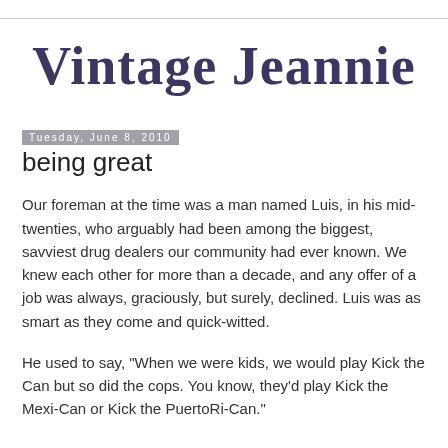Vintage Jeannie
Tuesday, June 8, 2010
being great
Our foreman at the time was a man named Luis, in his mid-twenties, who arguably had been among the biggest, savviest drug dealers our community had ever known. We knew each other for more than a decade, and any offer of a job was always, graciously, but surely, declined. Luis was as smart as they come and quick-witted.
He used to say, "When we were kids, we would play Kick the Can but so did the cops. You know, they'd play Kick the Mexi-Can or Kick the PuertoRi-Can."